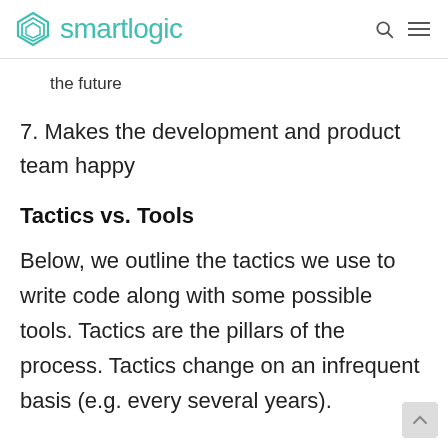smartlogic
the future
7. Makes the development and product team happy
Tactics vs. Tools
Below, we outline the tactics we use to write code along with some possible tools. Tactics are the pillars of the process. Tactics change on an infrequent basis (e.g. every several years).